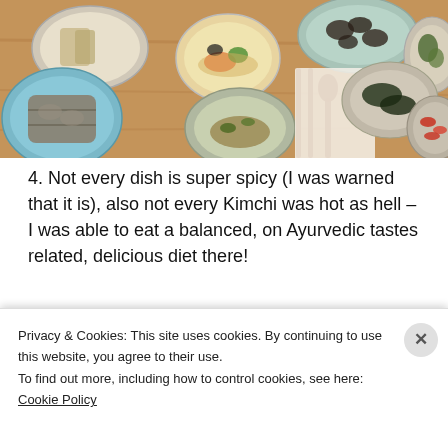[Figure (photo): Overhead view of a Korean meal spread with multiple small dishes, bowls of soup, side dishes including kimchi, vegetables, fish, and mushrooms arranged on a wooden table with chopsticks and a spoon.]
4. Not every dish is super spicy (I was warned that it is), also not every Kimchi was hot as hell – I was able to eat a balanced, on Ayurvedic tastes related, delicious diet there!
Privacy & Cookies: This site uses cookies. By continuing to use this website, you agree to their use.
To find out more, including how to control cookies, see here: Cookie Policy
Close and accept